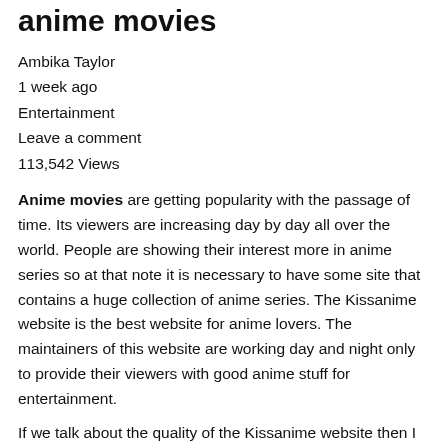anime movies
Ambika Taylor
1 week ago
Entertainment
Leave a comment
113,542 Views
Anime movies are getting popularity with the passage of time. Its viewers are increasing day by day all over the world. People are showing their interest more in anime series so at that note it is necessary to have some site that contains a huge collection of anime series. The Kissanime website is the best website for anime lovers. The maintainers of this website are working day and night only to provide their viewers with good anime stuff for entertainment.
If we talk about the quality of the Kissanime website then I must say about its beautifully designed homepage. It has a user-friendly interface. You can